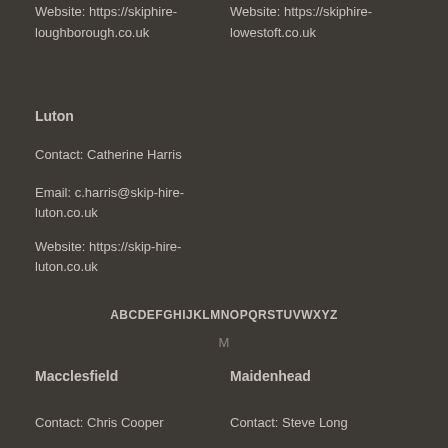Website: https://skiphire-loughborough.co.uk
Website: https://skiphire-lowestoft.co.uk
Luton
Contact: Catherine Harris
Email: c.harris@skip-hire-luton.co.uk
Website: https://skip-hire-luton.co.uk
ABCDEFGHIJKLMNOPQRSTUVWXYZ
M
Macclesfield
Maidenhead
Contact: Chris Cooper
Contact: Steve Long